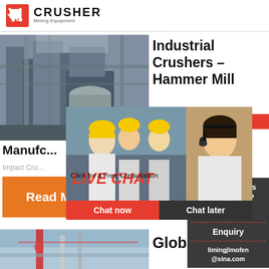[Figure (logo): Crusher Mining Equipment logo with red shopping bag icon and bold CRUSHER text]
[Figure (photo): Industrial crusher/hammer mill facility with metal structures and pipes]
Industrial Crushers - Hammer Mill
24Hrs Online
Manufc...
Impact Cru...
[Figure (infographic): Live Chat popup overlay with workers and customer service agent photos, LIVE CHAT text, Click for a Free Consultation, Chat now and Chat later buttons]
[Figure (photo): Button or banner: Read More in orange]
[Figure (infographic): Right sidebar with Need questions & suggestion, Chat Now button, Enquiry section, limingjlmofen@sina.com email]
[Figure (photo): Bottom industrial facility photo]
Globa...